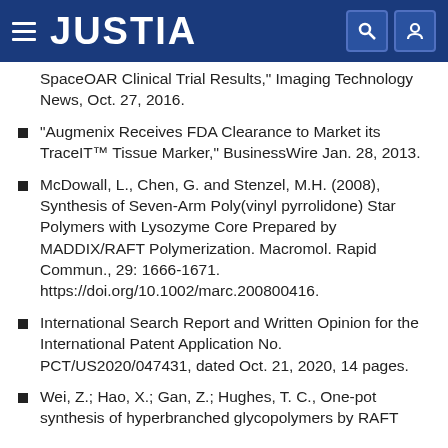JUSTIA
SpaceOAR Clinical Trial Results," Imaging Technology News, Oct. 27, 2016.
"Augmenix Receives FDA Clearance to Market its TraceIT™ Tissue Marker," BusinessWire Jan. 28, 2013.
McDowall, L., Chen, G. and Stenzel, M.H. (2008), Synthesis of Seven-Arm Poly(vinyl pyrrolidone) Star Polymers with Lysozyme Core Prepared by MADDIX/RAFT Polymerization. Macromol. Rapid Commun., 29: 1666-1671. https://doi.org/10.1002/marc.200800416.
International Search Report and Written Opinion for the International Patent Application No. PCT/US2020/047431, dated Oct. 21, 2020, 14 pages.
Wei, Z.; Hao, X.; Gan, Z.; Hughes, T. C., One-pot synthesis of hyperbranched glycopolymers by RAFT polymerization. Journal of Polymer Science: Part A: